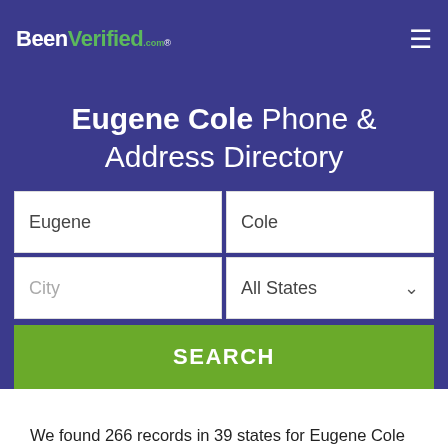BeenVerified.com
Eugene Cole Phone & Address Directory
[Figure (screenshot): Search form with fields: Eugene, Cole, City, All States dropdown, and SEARCH button]
We found 266 records in 39 states for Eugene Cole in our US directory. The top state of residence is Michigan, followed by